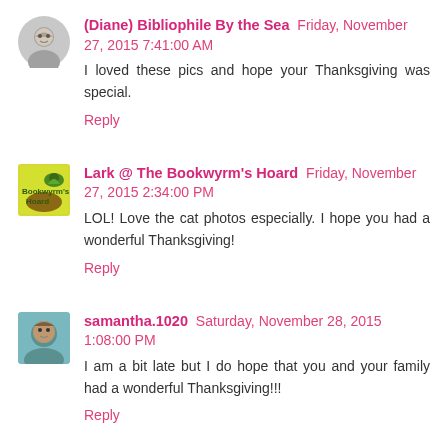(Diane) Bibliophile By the Sea Friday, November 27, 2015 7:41:00 AM
I loved these pics and hope your Thanksgiving was special.
Reply
Lark @ The Bookwyrm's Hoard Friday, November 27, 2015 2:34:00 PM
LOL! Love the cat photos especially. I hope you had a wonderful Thanksgiving!
Reply
samantha.1020 Saturday, November 28, 2015 1:08:00 PM
I am a bit late but I do hope that you and your family had a wonderful Thanksgiving!!!
Reply